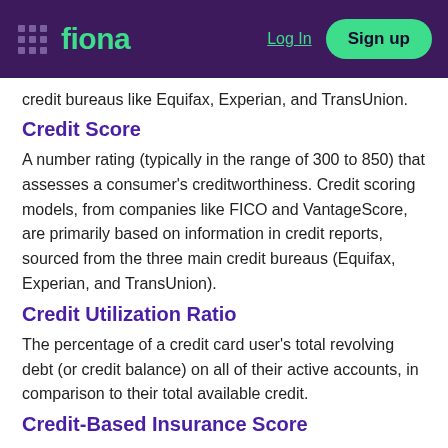fiona — Log In | Sign up
credit bureaus like Equifax, Experian, and TransUnion.
Credit Score
A number rating (typically in the range of 300 to 850) that assesses a consumer's creditworthiness. Credit scoring models, from companies like FICO and VantageScore, are primarily based on information in credit reports, sourced from the three main credit bureaus (Equifax, Experian, and TransUnion).
Credit Utilization Ratio
The percentage of a credit card user's total revolving debt (or credit balance) on all of their active accounts, in comparison to their total available credit.
Credit-Based Insurance Score
As credit score and history are important factors in an